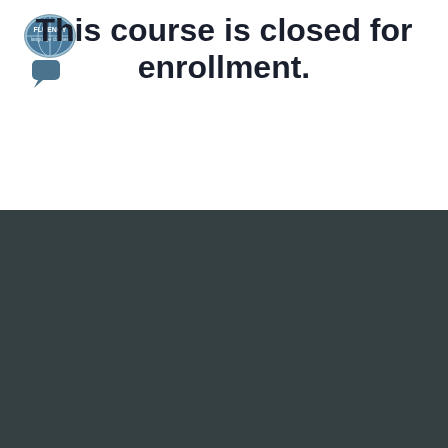[Figure (logo): Fluency Fast language courses logo — globe inside a speech bubble with text 'FLUENCY language classes' and a chat icon below]
This course is closed for enrollment.
© Fluency Fast 2022
Terms of Use
Privacy Policy
Fluency Fast Home Page